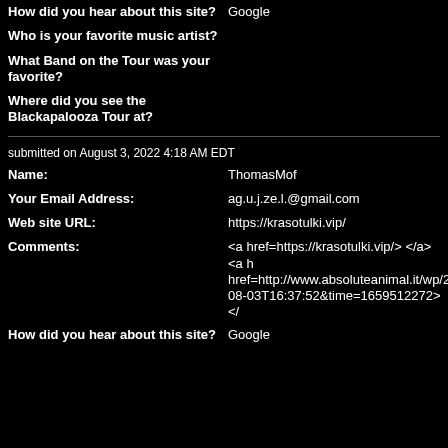| How did you hear about this site? | Google |
| Who is your favorite music artist? |  |
| What Band on the Tour was your favorite? |  |
| Where did you see the Blackapalooza Tour at? |  |
submitted on August 3, 2022 4:18 AM EDT
| Name: | ThomasMof |
| Your Email Address: | ag.u.j.ze.l.@gmail.com |
| Web site URL: | https://krasotulki.vip/ |
| Comments: | <a href=https://krasotulki.vip/> </a> <a href=http://www.absoluteanimal.it/wp/20 08-03T16:37:52&time=1659512272> </a 10641550> </a> <a href=http://alvocert |
| How did you hear about this site? | Google |